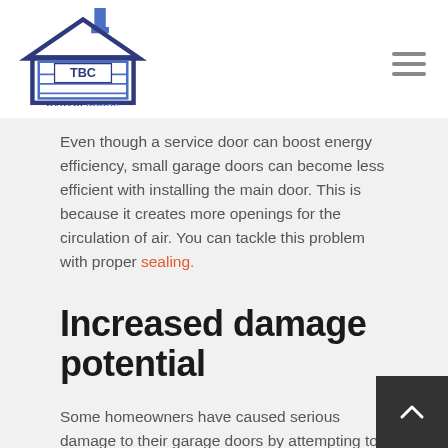[Figure (logo): TBC Garage Doors logo — house outline with garage door panels, 'TBC' text inside, 'GARAGEDOORS' below]
Even though a service door can boost energy efficiency, small garage doors can become less efficient with installing the main door. This is because it creates more openings for the circulation of air. You can tackle this problem with proper sealing.
Increased damage potential
Some homeowners have caused serious damage to their garage doors by attempting to open them after leaving the main door ajar